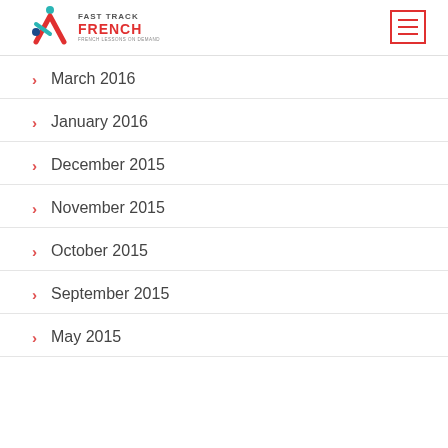Fast Track French — French Lessons on Demand
March 2016
January 2016
December 2015
November 2015
October 2015
September 2015
May 2015